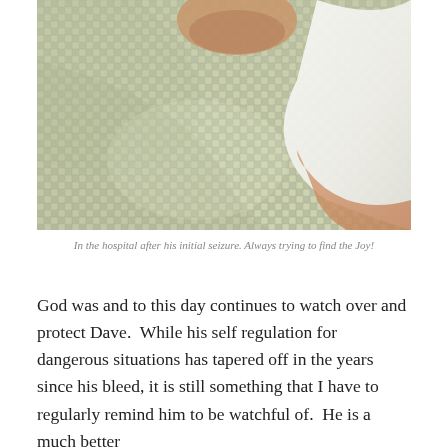[Figure (photo): A person in a hospital gown with a green and white checkered pattern lying in a hospital bed. A white-sleeved arm is visible on the right side of the image.]
In the hospital after his initial seizure. Always trying to find the Joy!
God was and to this day continues to watch over and protect Dave.  While his self regulation for dangerous situations has tapered off in the years since his bleed, it is still something that I have to regularly remind him to be watchful of.  He is a much better